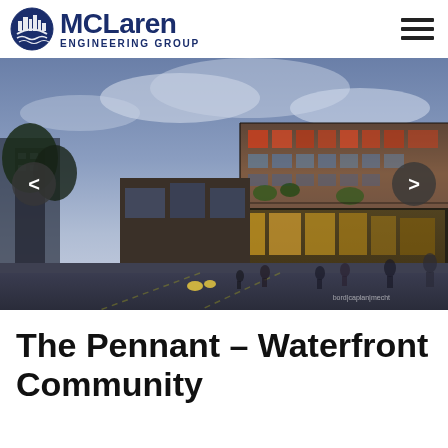McLaren Engineering Group
[Figure (illustration): Architectural rendering of The Pennant – Waterfront Community building. A modern multi-story mixed-use building with brick facade, large windows, and retail ground floor. Street-level view with pedestrians and cars. Twilight sky. Watermark: bord|caplan|mecht. Navigation arrows on left and right.]
The Pennant – Waterfront Community